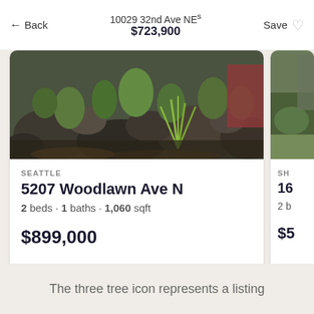10029 32nd Ave NEs
$723,900
[Figure (photo): Rock garden with boulders and green plants/shrubs, exterior photo for real estate listing]
SEATTLE
5207 Woodlawn Ave N
2 beds · 1 baths · 1,060 sqft
$899,000
John L. Scott, Inc. · MLS 1984341 · Status: Active
The three tree icon represents a listing